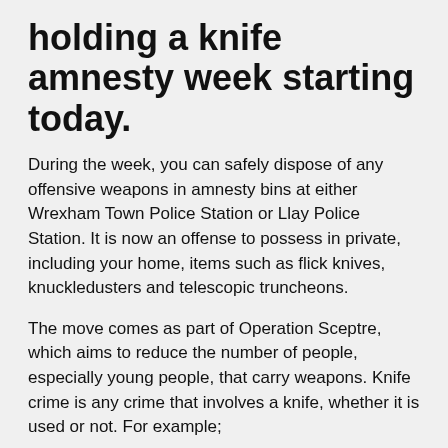holding a knife amnesty week starting today.
During the week, you can safely dispose of any offensive weapons in amnesty bins at either Wrexham Town Police Station or Llay Police Station. It is now an offense to possess in private, including your home, items such as flick knives, knuckledusters and telescopic truncheons.
The move comes as part of Operation Sceptre, which aims to reduce the number of people, especially young people, that carry weapons. Knife crime is any crime that involves a knife, whether it is used or not. For example;
Carrying a knife
Threatening someone with a knife
Intending to hurt someone with a knife